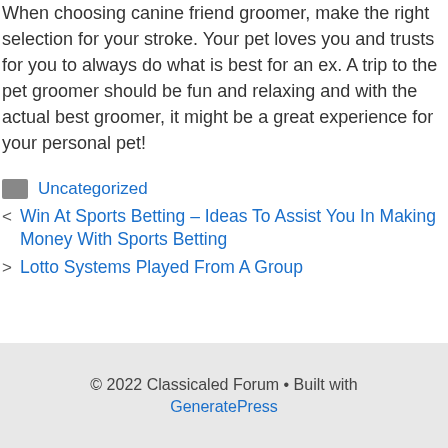When choosing canine friend groomer, make the right selection for your stroke. Your pet loves you and trusts for you to always do what is best for an ex. A trip to the pet groomer should be fun and relaxing and with the actual best groomer, it might be a great experience for your personal pet!
Uncategorized
< Win At Sports Betting – Ideas To Assist You In Making Money With Sports Betting
> Lotto Systems Played From A Group
© 2022 Classicaled Forum • Built with GeneratePress